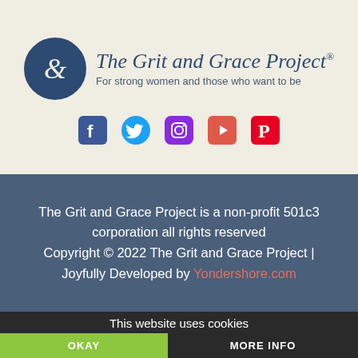[Figure (logo): The Grit and Grace Project logo: dark navy circle with italic ampersand, script title text and subtitle 'For strong women and those who want to be']
[Figure (infographic): Five social media icons: Facebook (blue), Twitter (light blue), Instagram (purple rounded square), YouTube (red rounded square), Pinterest (red rounded square)]
The Grit and Grace Project is a non-profit 501c3 corporation all rights reserved Copyright © 2022 The Grit and Grace Project | Joyfully Developed by Yondershore.com
This website uses cookies
OKAY
MORE INFO